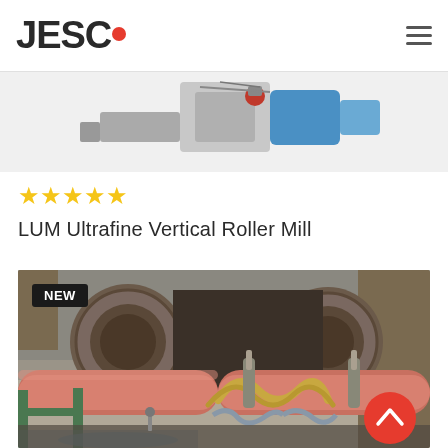JESCO
[Figure (photo): Partial view of a milling machine product (LUM Ultrafine Vertical Roller Mill) with blue motor visible against white background, cropped at top]
★★★★★
LUM Ultrafine Vertical Roller Mill
[Figure (photo): Industrial machinery photograph showing large rotating cylindrical drums/rollers with hydraulic pipes and mechanical fittings, outdoor industrial site with concrete walls and earthen background. Badge labeled NEW in top-left corner.]